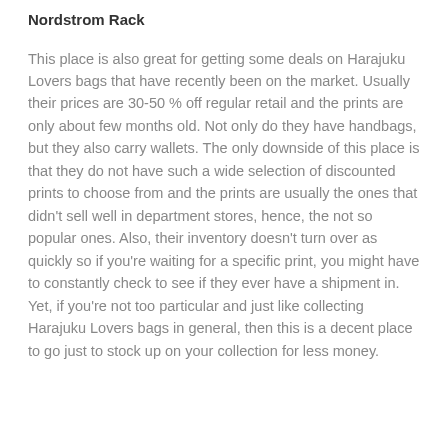Nordstrom Rack
This place is also great for getting some deals on Harajuku Lovers bags that have recently been on the market. Usually their prices are 30-50 % off regular retail and the prints are only about few months old. Not only do they have handbags, but they also carry wallets. The only downside of this place is that they do not have such a wide selection of discounted prints to choose from and the prints are usually the ones that didn't sell well in department stores, hence, the not so popular ones. Also, their inventory doesn't turn over as quickly so if you're waiting for a specific print, you might have to constantly check to see if they ever have a shipment in. Yet, if you're not too particular and just like collecting Harajuku Lovers bags in general, then this is a decent place to go just to stock up on your collection for less money.